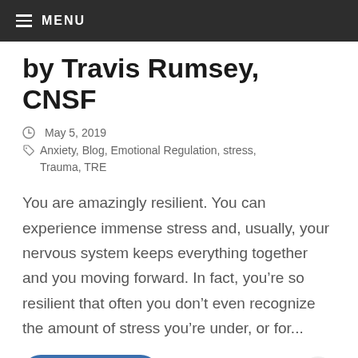≡ MENU
by Travis Rumsey, CNSF
⏱ May 5, 2019
🗂 Anxiety, Blog, Emotional Regulation, stress, Trauma, TRE
You are amazingly resilient.  You can experience immense stress and, usually, your nervous system keeps everything together and you moving forward.  In fact, you're so resilient that often you don't even recognize the amount of stress you're under, or for...
VIEW MORE